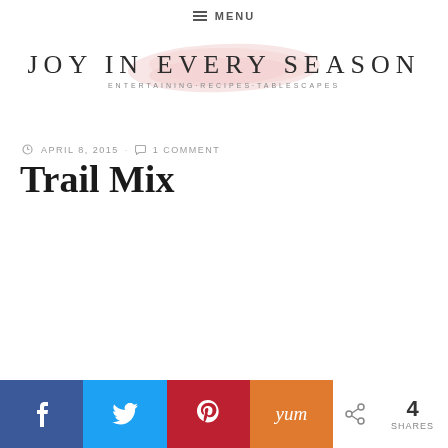≡ MENU
[Figure (logo): Joy In Every Season blog logo with pink brush stroke watercolor background. Text: JOY IN EVERY SEASON. Subtitle: ENTERTAINING·RECIPES·TABLESCAPES]
APRIL 8, 2015 · 1 COMMENT
Trail Mix
[Figure (infographic): Social share buttons row: Facebook (blue), Twitter (blue), Pinterest (red), Yum (orange), share icon with count: 4 SHARES]